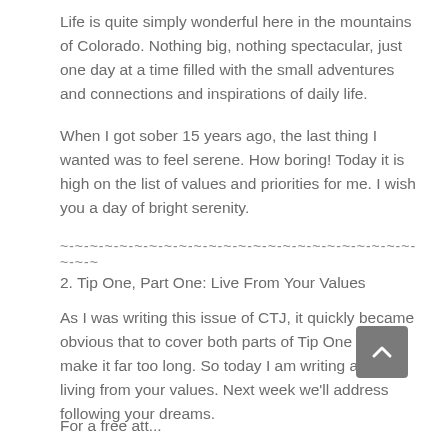Life is quite simply wonderful here in the mountains of Colorado. Nothing big, nothing spectacular, just one day at a time filled with the small adventures and connections and inspirations of daily life.
When I got sober 15 years ago, the last thing I wanted was to feel serene. How boring! Today it is high on the list of values and priorities for me. I wish you a day of bright serenity.
~-~-~-~-~-~-~-~-~-~-~-~-~-~-~-~-~-~-~-~-~-~-~-~-~-~-~-~-~-~
2. Tip One, Part One: Live From Your Values
As I was writing this issue of CTJ, it quickly became obvious that to cover both parts of Tip One would make it far too long. So today I am writing about living from your values. Next week we'll address following your dreams.
Did you miss the “Top Ten Tips for Having the Life You REALLY Want” issue of CTJ? Find it on my website at https://www.tothesummit.com/archive.
For a free att...